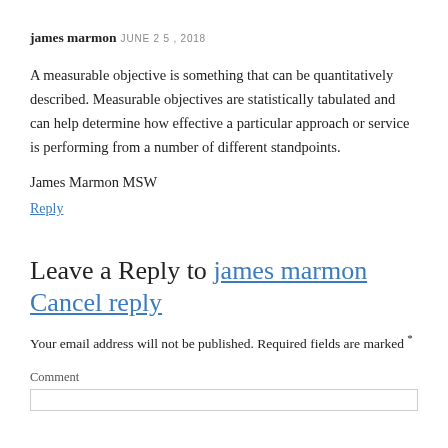james marmon
JUNE 25, 2018
A measurable objective is something that can be quantitatively described. Measurable objectives are statistically tabulated and can help determine how effective a particular approach or service is performing from a number of different standpoints.
James Marmon MSW
Reply
Leave a Reply to james marmon Cancel reply
Your email address will not be published. Required fields are marked *
Comment